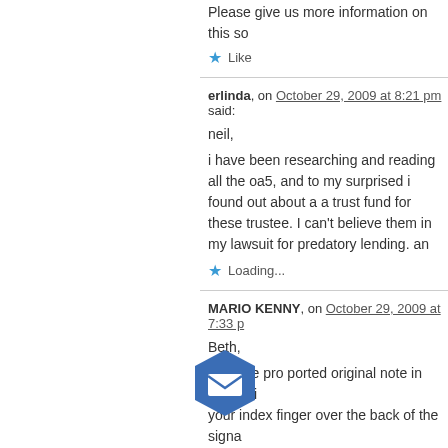Please give us more information on this so
Like
erlinda, on October 29, 2009 at 8:21 pm said:
neil,
i have been researching and reading all the oa5, and to my surprised i found out about a a trust fund for these trustee. I can't believe them in my lawsuit for predatory lending. an
Loading...
MARIO KENNY, on October 29, 2009 at 7:33 p
Beth,
With the pro ported original note in hand, flip your index finger over the back of the signa likely hand done, but if it is completely smoo method is to enlarge the signature by use o indicative of scanned fake si
Also the court allows a foren alist th original note, if the note is in the courts poss